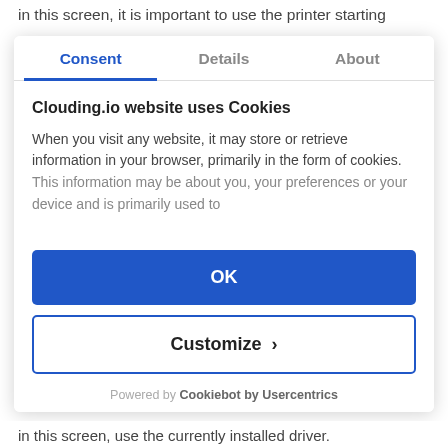in this screen, it is important to use the printer starting
[Figure (screenshot): Cookie consent modal dialog with three tabs: Consent (active, blue), Details, About. Contains title 'Clouding.io website uses Cookies', body text about cookie usage, OK button (blue), Customize button (outlined), and 'Powered by Cookiebot by Usercentrics' footer.]
in this screen, use the currently installed driver.